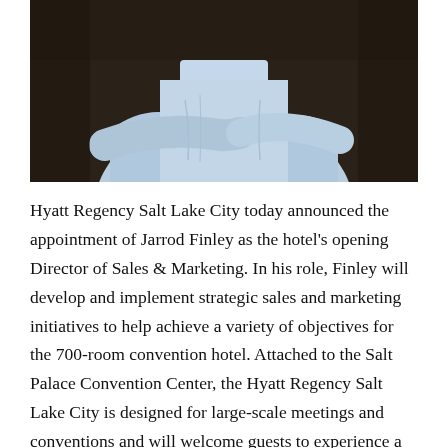[Figure (photo): Photo of a person in a light blue dress shirt with arms crossed, photographed from mid-torso up against a dark brown/charcoal background.]
Hyatt Regency Salt Lake City today announced the appointment of Jarrod Finley as the hotel's opening Director of Sales & Marketing. In his role, Finley will develop and implement strategic sales and marketing initiatives to help achieve a variety of objectives for the 700-room convention hotel. Attached to the Salt Palace Convention Center, the Hyatt Regency Salt Lake City is designed for large-scale meetings and conventions and will welcome guests to experience a vibrant and thriving urban hub, with breathtaking views of the snowcapped mountains.